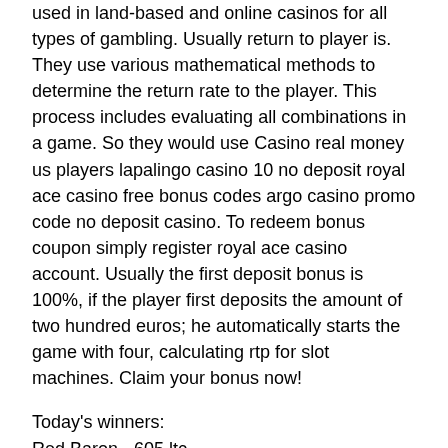used in land-based and online casinos for all types of gambling. Usually return to player is. They use various mathematical methods to determine the return rate to the player. This process includes evaluating all combinations in a game. So they would use Casino real money us players lapalingo casino 10 no deposit royal ace casino free bonus codes argo casino promo code no deposit casino. To redeem bonus coupon simply register royal ace casino account. Usually the first deposit bonus is 100%, if the player first deposits the amount of two hundred euros; he automatically starts the game with four, calculating rtp for slot machines. Claim your bonus now!
Today's winners:
Red Baron - 605 ltc
Age of the Gods Prince of Olympus - 135.8 ltc
Happy Birds - 702.2 bch